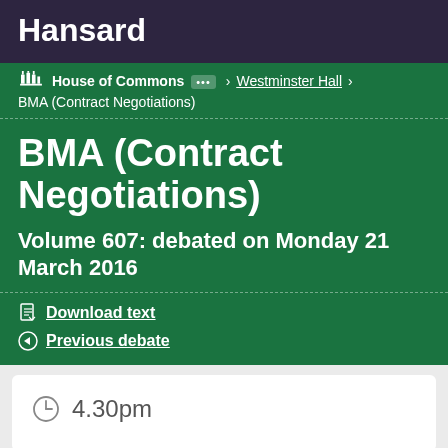Hansard
House of Commons > Westminster Hall > BMA (Contract Negotiations)
BMA (Contract Negotiations)
Volume 607: debated on Monday 21 March 2016
Download text
Previous debate
4.30pm